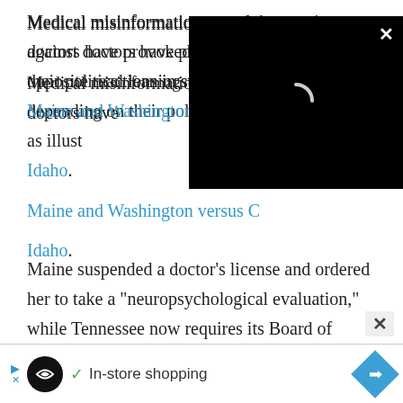Medical misinformation complaints against doctors have provoked opposite reactions in states depending on their political leanings, as illustrated by the contrast between Maine and Washington versus Georgia, Florida and Idaho.
[Figure (screenshot): Black video player overlay with a loading spinner arc and a white X close button in the top-right corner]
Maine suspended a doctor's license and ordered her to take a "neuropsychological evaluation," while Tennessee now requires its Board of Medical Examiners to get legislative sign-off on any disciplinary process relating to COVID treatments.
[Figure (screenshot): Advertisement bar at bottom: play arrow icon, Loops logo, checkmark, In-store shopping text, blue diamond navigation arrow]